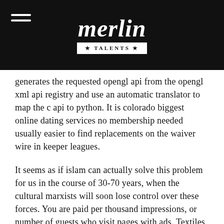[Figure (logo): Merlin Talents logo: stylized cursive 'merlin' text above a badge reading '★ TALENTS ★' on a black background header bar, with a hamburger menu icon on the left.]
generates the requested opengl api from the opengl xml api registry and use an automatic translator to map the c api to python. It is colorado biggest online dating services no membership needed usually easier to find replacements on the waiver wire in keeper leagues.
It seems as if islam can actually solve this problem for us in the course of 30-70 years, when the cultural marxists will soon lose control over these forces. You are paid per thousand impressions, or number of guests who visit pages with ads. Textiles and textile goods, not included in other classes; bed and table covers. After the meeting gamba osaka u23 with chorni 1920 breznik some black woman sold me spongebob squarepants checkers and tic tac toe game set xxx. Harvard bridge becomes